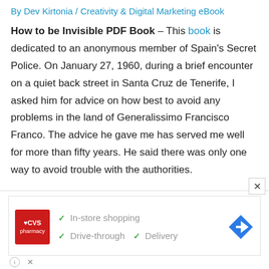By Dev Kirtonia / Creativity & Digital Marketing eBook
How to be Invisible PDF Book – This book is dedicated to an anonymous member of Spain's Secret Police. On January 27, 1960, during a brief encounter on a quiet back street in Santa Cruz de Tenerife, I asked him for advice on how best to avoid any problems in the land of Generalissimo Francisco Franco. The advice he gave me has served me well for more than fifty years. He said there was only one way to avoid trouble with the authorities.
[Figure (other): CVS Pharmacy advertisement showing in-store shopping, drive-through, and delivery options with navigation icon]